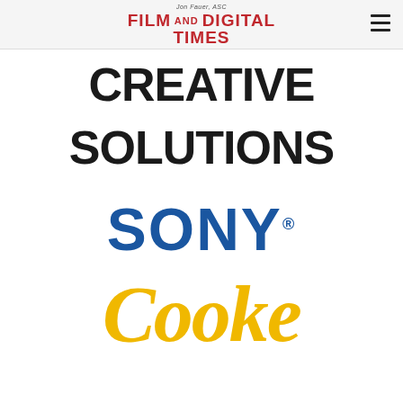Jon Fauer, ASC Film and Digital Times
[Figure (logo): Creative Solutions logo in bold black uppercase text]
[Figure (logo): Sony logo in blue bold uppercase text with registered trademark symbol]
[Figure (logo): Cooke logo in gold/yellow italic cursive script font]